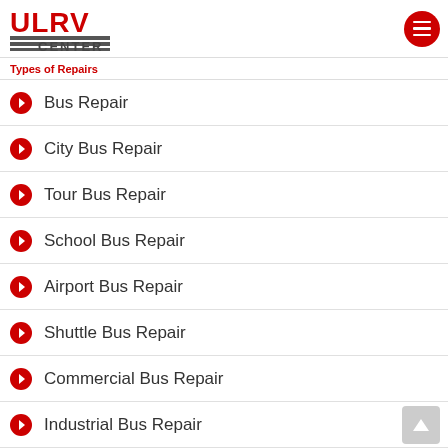[Figure (logo): ULRV Center logo with red letters and gray horizontal stripes]
Types of Repairs
Bus Repair
City Bus Repair
Tour Bus Repair
School Bus Repair
Airport Bus Repair
Shuttle Bus Repair
Commercial Bus Repair
Industrial Bus Repair
Delivery Bus Repair